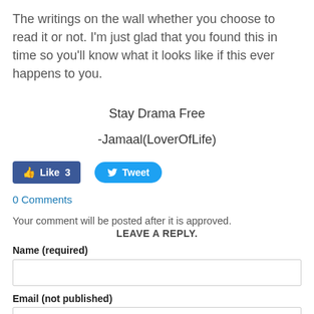The writings on the wall whether you choose to read it or not. I'm just glad that you found this in time so you'll know what it looks like if this ever happens to you.
Stay Drama Free
-Jamaal(LoverOfLife)
[Figure (screenshot): Facebook Like button showing 'Like 3' and Twitter Tweet button]
0 Comments
Your comment will be posted after it is approved.
LEAVE A REPLY.
Name (required)
Email (not published)